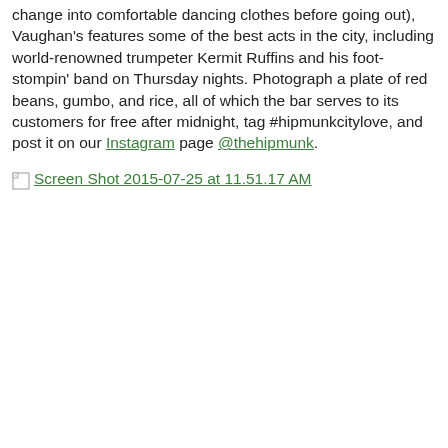change into comfortable dancing clothes before going out), Vaughan's features some of the best acts in the city, including world-renowned trumpeter Kermit Ruffins and his foot-stompin' band on Thursday nights. Photograph a plate of red beans, gumbo, and rice, all of which the bar serves to its customers for free after midnight, tag #hipmunkcitylove, and post it on our Instagram page @thehipmunk.
[Figure (screenshot): Broken image placeholder with alt text 'Screen Shot 2015-07-25 at 11.51.17 AM' shown as a broken image icon followed by green underlined alt text.]